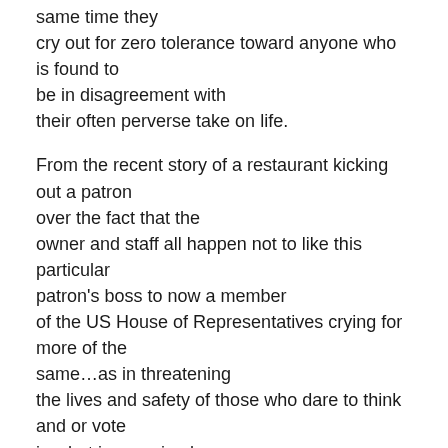same time they cry out for zero tolerance toward anyone who is found to be in disagreement with their often perverse take on life.

From the recent story of a restaurant kicking out a patron over the fact that the owner and staff all happen not to like this particular patron's boss to now a member of the US House of Representatives crying for more of the same…as in threatening the lives and safety of those who dare to think and or vote in what is perceived as opposition…as in no longer a two party system… but rather the system of one and one only… as the shadows of both lunacy and desperation creep in from the past.